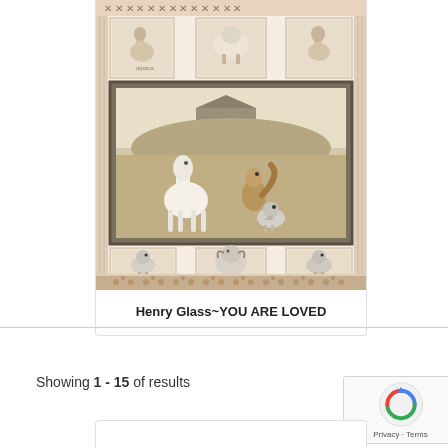[Figure (photo): Fabric panel product image for Henry Glass YOU ARE LOVED. Shows a quilt panel featuring farm animals including a llama, birds, and a barn scene in muted beige and brown tones. Panel has decorative borders with X patterns at top and floral pattern at bottom, with individual animal vignettes at top and bottom rows.]
Henry Glass~YOU ARE LOVED
Showing 1 - 15 of results